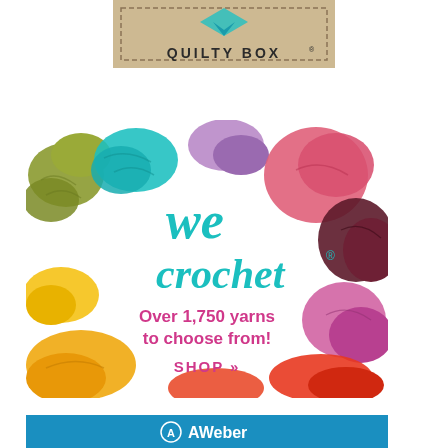[Figure (illustration): Quilty Box advertisement showing a tan/kraft colored box logo with a diamond/arrow graphic and dashed border, text reads QUILTY BOX with registered trademark symbol]
[Figure (illustration): WeCrochet advertisement showing colorful yarn skeins arranged around the border of a white square. Text in teal reads 'we crochet' with registered trademark, pink text reads 'Over 1,750 yarns to choose from!' and bold pink text reads 'SHOP »']
[Figure (illustration): AWeber advertisement showing blue background with AWeber logo and white text]